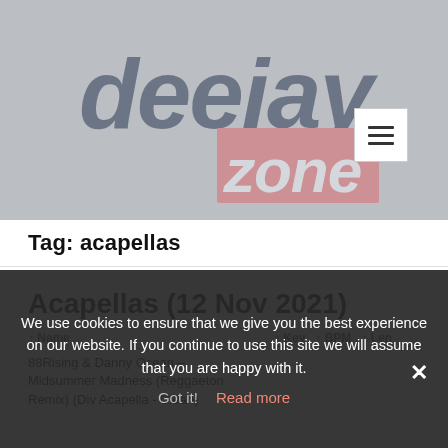[Figure (logo): Deejay Zone logo: 'deejay' in dark navy italic bold lettering above a red/coral rectangle with 'zone' in white italic bold text]
Tag: acapellas
Acapellas (12 Nov 2021)
↑ Name ↑ Key ↑ BPM ↑ Len
88Rising & Danny Ocean – Midsummer Madness (Reggaeton Remix) (Div Acapella - Clean)
We use cookies to ensure that we give you the best experience on our website. If you continue to use this site we will assume that you are happy with it.
Got it!   Read more